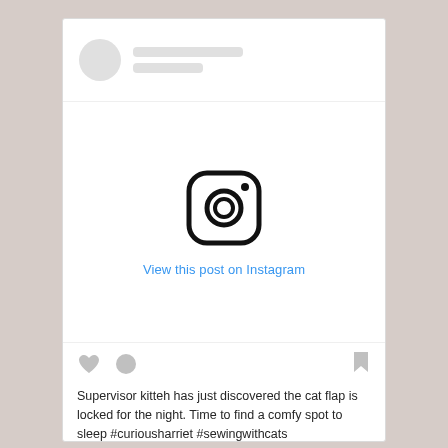[Figure (screenshot): Instagram post embed UI showing a placeholder avatar and username bars at the top, an Instagram camera logo icon in the center with 'View this post on Instagram' link, action icons (heart, comment, bookmark) below the image area, and a caption text at the bottom.]
View this post on Instagram
Supervisor kitteh has just discovered the cat flap is locked for the night. Time to find a comfy spot to sleep #curiousharriet #sewingwithcats